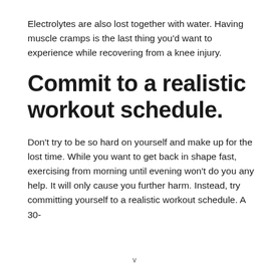Electrolytes are also lost together with water. Having muscle cramps is the last thing you'd want to experience while recovering from a knee injury.
Commit to a realistic workout schedule.
Don't try to be so hard on yourself and make up for the lost time. While you want to get back in shape fast, exercising from morning until evening won't do you any help. It will only cause you further harm. Instead, try committing yourself to a realistic workout schedule. A 30-
v